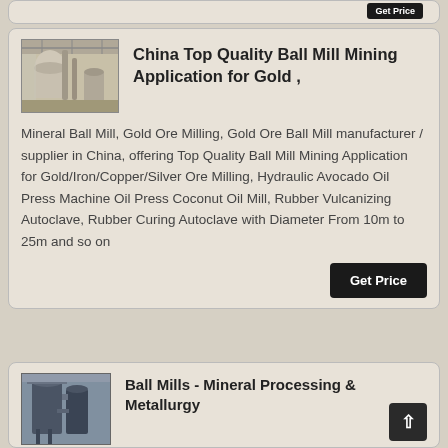[Figure (photo): Industrial ball mill machinery in a factory interior, partial card at top]
China Top Quality Ball Mill Mining Application for Gold ,
Mineral Ball Mill, Gold Ore Milling, Gold Ore Ball Mill manufacturer / supplier in China, offering Top Quality Ball Mill Mining Application for Gold/Iron/Copper/Silver Ore Milling, Hydraulic Avocado Oil Press Machine Oil Press Coconut Oil Mill, Rubber Vulcanizing Autoclave, Rubber Curing Autoclave with Diameter From 10m to 25m and so on
[Figure (photo): Industrial ball mill or processing equipment exterior with dust collector, partial card at bottom]
Ball Mills - Mineral Processing & Metallurgy